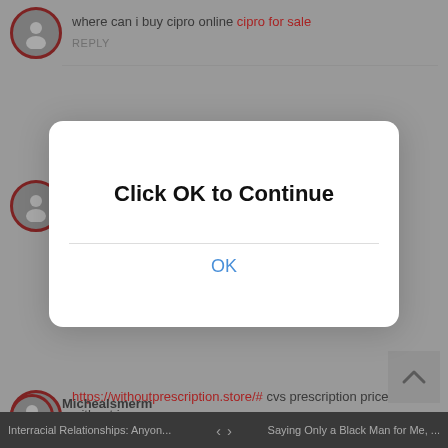where can i buy cipro online cipro for sale
REPLY
JefferyStert
2 months ago
buy prescription drugs online tadalafil without a doctor's prescription
Click OK to Continue
OK
Robertglalk
https://withoutprescription.store/# cvs prescription prices without insurance
REPLY
Michealsmerm
Interracial Relationships: Anyon...    <  >    Saying Only a Black Man for Me, ...